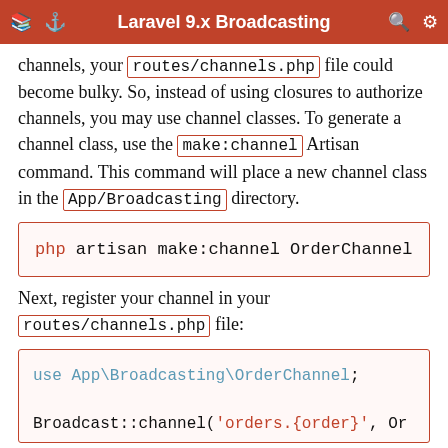Laravel 9.x Broadcasting
channels, your routes/channels.php file could become bulky. So, instead of using closures to authorize channels, you may use channel classes. To generate a channel class, use the make:channel Artisan command. This command will place a new channel class in the App/Broadcasting directory.
[Figure (screenshot): Code block showing: php artisan make:channel OrderChannel]
Next, register your channel in your routes/channels.php file:
[Figure (screenshot): Code block showing: use App\Broadcasting\OrderChannel;  Broadcast::channel('orders.{order}', Or]